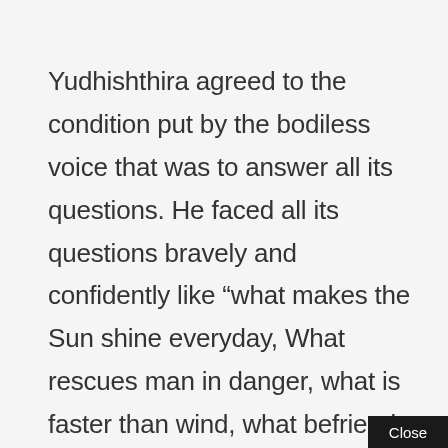Yudhishthira agreed to the condition put by the bodiless voice that was to answer all its questions. He faced all its questions bravely and confidently like “what makes the Sun shine everyday, What rescues man in danger, what is faster than wind, what befriends a traveller, who accompanies a man in death, who is the friend of one who stays at home, which is the biggest
Close